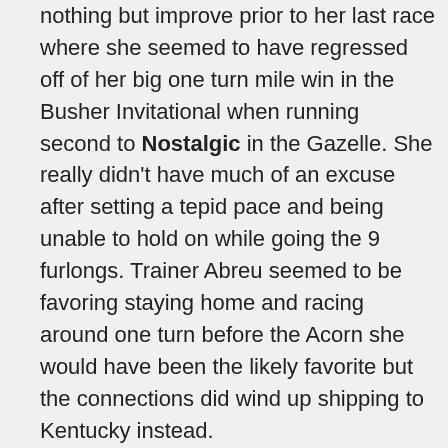nothing but improve prior to her last race where she seemed to have regressed off of her big one turn mile win in the Busher Invitational when running second to Nostalgic in the Gazelle. She really didn't have much of an excuse after setting a tepid pace and being unable to hold on while going the 9 furlongs. Trainer Abreu seemed to be favoring staying home and racing around one turn before the Acorn she would have been the likely favorite but the connections did wind up shipping to Kentucky instead.
Desert Dawn - She ran a far better race last out wining the Santa Anita Oaks after a